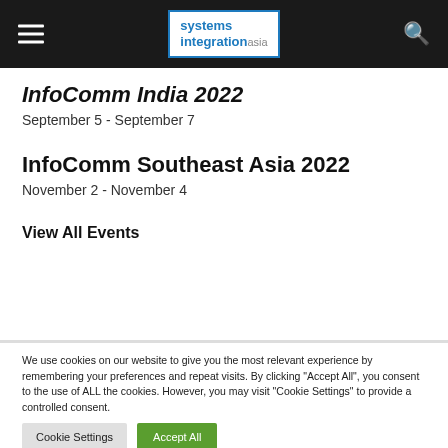Systems Integration Asia
InfoComm India 2022
September 5 - September 7
InfoComm Southeast Asia 2022
November 2 - November 4
View All Events
We use cookies on our website to give you the most relevant experience by remembering your preferences and repeat visits. By clicking "Accept All", you consent to the use of ALL the cookies. However, you may visit "Cookie Settings" to provide a controlled consent.